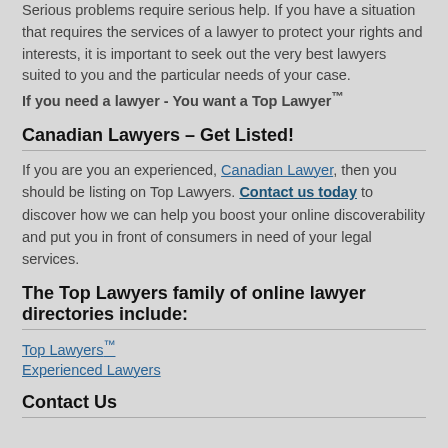Serious problems require serious help. If you have a situation that requires the services of a lawyer to protect your rights and interests, it is important to seek out the very best lawyers suited to you and the particular needs of your case. If you need a lawyer - You want a Top Lawyer™
Canadian Lawyers – Get Listed!
If you are you an experienced, Canadian Lawyer, then you should be listing on Top Lawyers. Contact us today to discover how we can help you boost your online discoverability and put you in front of consumers in need of your legal services.
The Top Lawyers family of online lawyer directories include:
Top Lawyers™
Experienced Lawyers
Contact Us